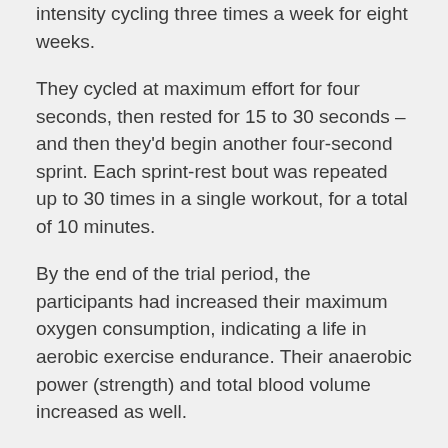intensity cycling three times a week for eight weeks.
They cycled at maximum effort for four seconds, then rested for 15 to 30 seconds – and then they'd begin another four-second sprint. Each sprint-rest bout was repeated up to 30 times in a single workout, for a total of 10 minutes.
By the end of the trial period, the participants had increased their maximum oxygen consumption, indicating a life in aerobic exercise endurance. Their anaerobic power (strength) and total blood volume increased as well.
Remzi Satiroglu, lead author of the study from the University of Texas at Austin, said both athletic performance and cardiovascular health can improve with a boost in blood volume.
The results may encourage people to exercise because the total workout time is so short, he explained. "[People] often claim